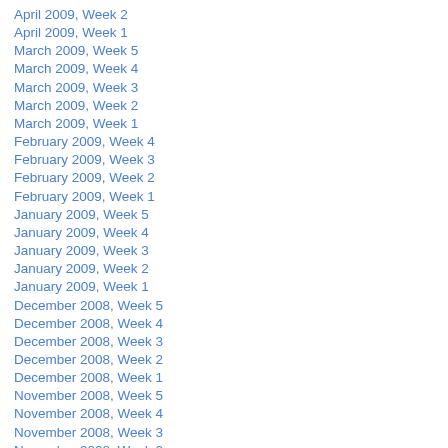April 2009, Week 2
April 2009, Week 1
March 2009, Week 5
March 2009, Week 4
March 2009, Week 3
March 2009, Week 2
March 2009, Week 1
February 2009, Week 4
February 2009, Week 3
February 2009, Week 2
February 2009, Week 1
January 2009, Week 5
January 2009, Week 4
January 2009, Week 3
January 2009, Week 2
January 2009, Week 1
December 2008, Week 5
December 2008, Week 4
December 2008, Week 3
December 2008, Week 2
December 2008, Week 1
November 2008, Week 5
November 2008, Week 4
November 2008, Week 3
November 2008, Week 2
November 2008, Week 1
October 2008, Week 5
October 2008, Week 4
October 2008, Week 3
October 2008, Week 2